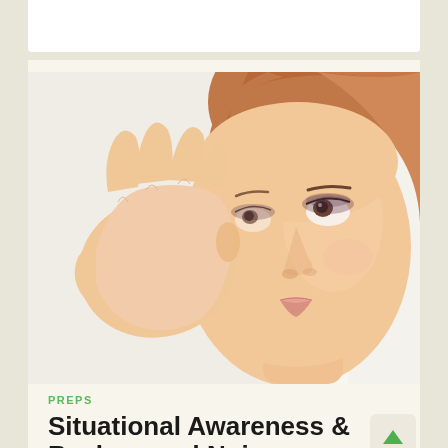[Figure (photo): Close-up photo of a woman with reddish hair and dramatic eye makeup, holding her hand cupped behind her ear in a listening gesture, looking upward to the side. White background.]
PREPS
Situational Awareness & Background Noise — Hea